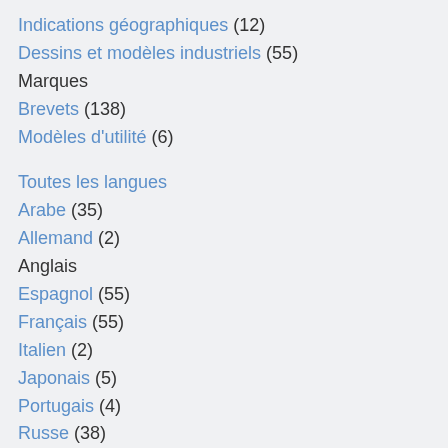Indications géographiques (12)
Dessins et modèles industriels (55)
Marques
Brevets (138)
Modèles d'utilité (6)
Toutes les langues
Arabe (35)
Allemand (2)
Anglais
Espagnol (55)
Français (55)
Italien (2)
Japonais (5)
Portugais (4)
Russe (38)
Chinois (37)
Toutes les dates